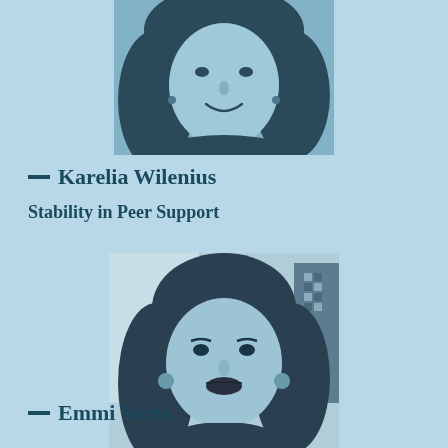[Figure (photo): Black and white photo of Karelia Wilenius, a woman with long dark hair, smiling, cropped at the top of the page showing face and upper shoulders.]
— Karelia Wilenius
Stability in Peer Support
[Figure (photo): Black and white photo of Emmi Varis, a woman with shoulder-length dark hair wearing a white lace top, smiling at the camera.]
— Emmi Varis